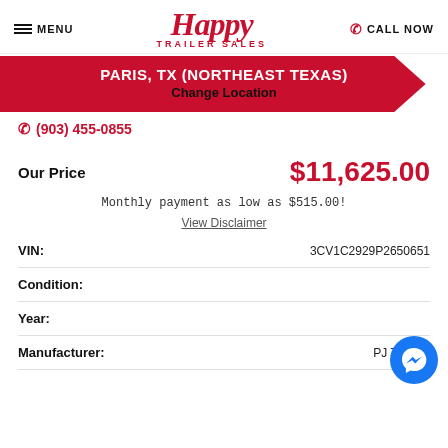MENU | Happy Trailer Sales | CALL NOW
PARIS, TX (NORTHEAST TEXAS)
Change Location
(903) 455-0855
Our Price
$11,625.00
Monthly payment as low as $515.00!
View Disclaimer
| Field | Value |
| --- | --- |
| VIN: | 3CV1C2929P2650651 |
| Condition: |  |
| Year: |  |
| Manufacturer: | PJ Trailers |